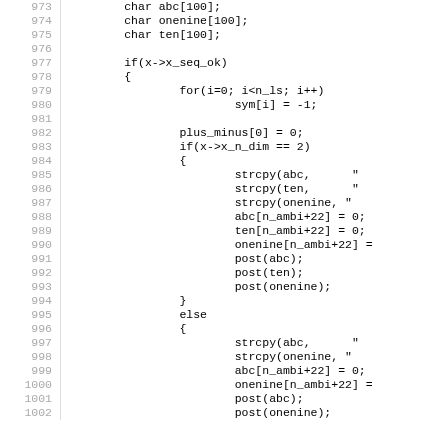Source code listing, lines 973-1002, C programming language code snippet showing variable declarations and conditional logic with strcpy and post function calls.